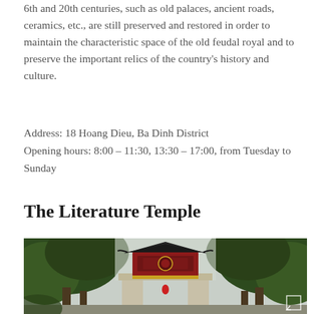6th and 20th centuries, such as old palaces, ancient roads, ceramics, etc., are still preserved and restored in order to maintain the characteristic space of the old feudal royal and to preserve the important relics of the country's history and culture.
Address: 18 Hoang Dieu, Ba Dinh District
Opening hours: 8:00 – 11:30, 13:30 – 17:00, from Tuesday to Sunday
The Literature Temple
[Figure (photo): Photograph of the Literature Temple gate in Hanoi, showing a traditional Vietnamese/Chinese-style pavilion gate with dark tiled roof, red decorative facade, framed by large green trees on both sides. Overcast sky visible above.]